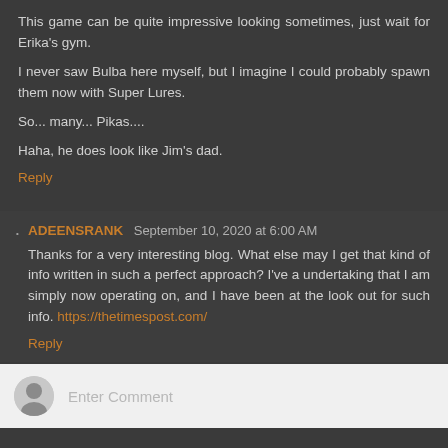This game can be quite impressive looking sometimes, just wait for Erika's gym.
I never saw Bulba here myself, but I imagine I could probably spawn them now with Super Lures.
So... many... Pikas....
Haha, he does look like Jim's dad.
Reply
ADEENSRANK September 10, 2020 at 6:00 AM
Thanks for a very interesting blog. What else may I get that kind of info written in such a perfect approach? I've a undertaking that I am simply now operating on, and I have been at the look out for such info. https://thetimespost.com/
Reply
Enter Comment